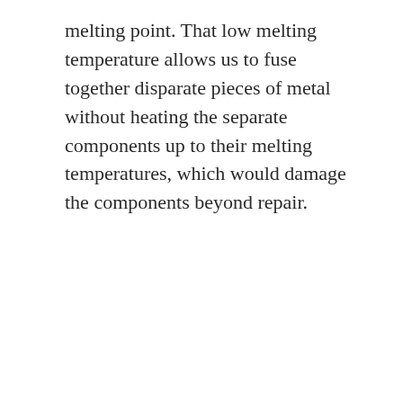melting point. That low melting temperature allows us to fuse together disparate pieces of metal without heating the separate components up to their melting temperatures, which would damage the components beyond repair.